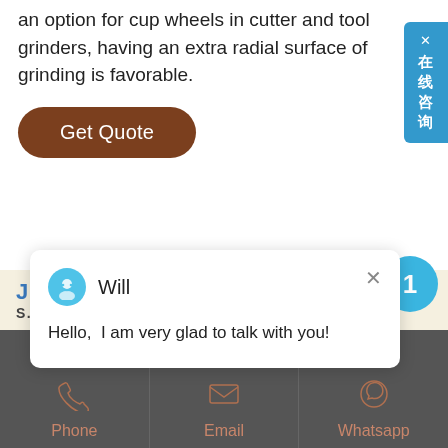an option for cup wheels in cutter and tool grinders, having an extra radial surface of grinding is favorable.
Get Quote
[Figure (screenshot): Sidebar chat widget button with Chinese text '在线咨询' (Online Consultation) and close X button, styled in teal/blue]
[Figure (screenshot): Chat popup with avatar icon for 'Will' and message 'Hello, I am very glad to talk with you!']
[Figure (logo): S.AURORA company logo with JG letters in orange and blue]
[Figure (infographic): Dark semicircle grinding wheel shape]
[Figure (infographic): Blue notification circle with number 1]
[Figure (infographic): Footer bar with Phone, Email, Whatsapp icons in dark gray background with brown/orange labels]